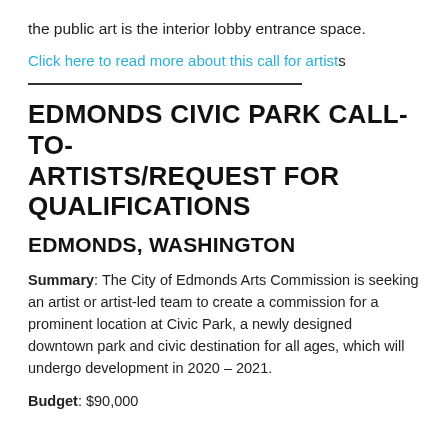the public art is the interior lobby entrance space.
Click here to read more about this call for artists
EDMONDS CIVIC PARK CALL-TO-ARTISTS/REQUEST FOR QUALIFICATIONS
EDMONDS, WASHINGTON
Summary: The City of Edmonds Arts Commission is seeking an artist or artist-led team to create a commission for a prominent location at Civic Park, a newly designed downtown park and civic destination for all ages, which will undergo development in 2020 – 2021.
Budget: $90,000